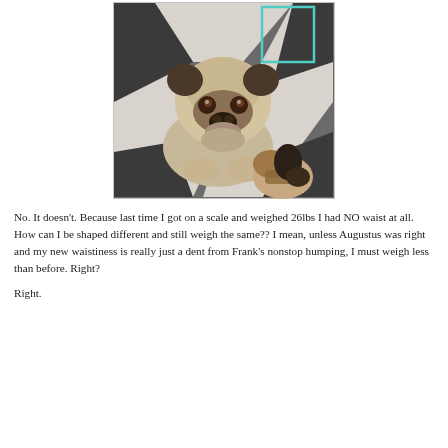[Figure (photo): A pug dog lying on a tiled floor looking up at the camera with a stuffed animal toy nearby. There is a teal/cyan rectangle overlay in the upper right area of the image.]
No. It doesn't. Because last time I got on a scale and weighed 26lbs I had NO waist at all. How can I be shaped different and still weigh the same?? I mean, unless Augustus was right and my new waistiness is really just a dent from Frank's nonstop humping, I must weigh less than before. Right?
Right.